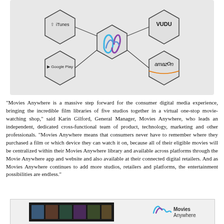[Figure (infographic): Hexagonal diagram showing Movies Anywhere logo in the center connected to iTunes (top-left), VUDU (top-right), Google Play (bottom-left), and Amazon (bottom-right) via lines, on a light grey background.]
"Movies Anywhere is a massive step forward for the consumer digital media experience, bringing the incredible film libraries of five studios together in a virtual one-stop movie-watching shop," said Karin Gilford, General Manager, Movies Anywhere, who leads an independent, dedicated cross-functional team of product, technology, marketing and other professionals. "Movies Anywhere means that consumers never have to remember where they purchased a film or which device they can watch it on, because all of their eligible movies will be centralized within their Movies Anywhere library and available across platforms through the Movie Anywhere app and website and also available at their connected digital retailers. And as Movies Anywhere continues to add more studios, retailers and platforms, the entertainment possibilities are endless."
[Figure (screenshot): Bottom image showing a device screen with movie thumbnails on the left and the Movies Anywhere logo (with wave icon) on the right, on a light grey background.]